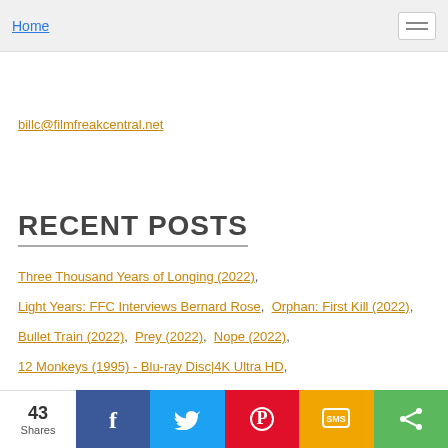Home
billc@filmfreakcentral.net
RECENT POSTS
Three Thousand Years of Longing (2022),
Light Years: FFC Interviews Bernard Rose, Orphan: First Kill (2022),
Bullet Train (2022), Prey (2022), Nope (2022),
12 Monkeys (1995) - Blu-ray Disc|4K Ultra HD,
Masks: FFC Interviews Scott Derrickson,
43 Shares